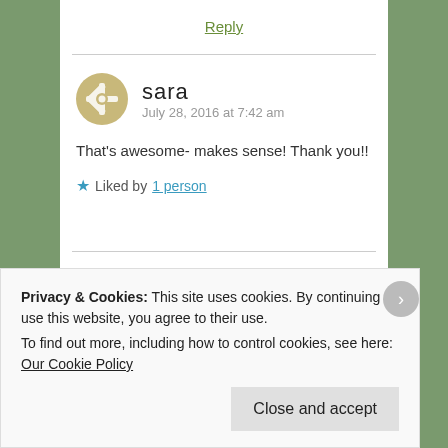Reply
sara  July 28, 2016 at 7:42 am
That's awesome- makes sense! Thank you!!
★ Liked by 1 person
Privacy & Cookies: This site uses cookies. By continuing to use this website, you agree to their use.
To find out more, including how to control cookies, see here: Our Cookie Policy
Close and accept